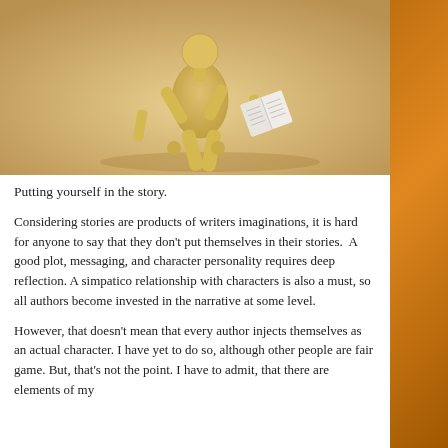[Figure (photo): A wooden articulated mannequin figure sitting and reading a small open book, photographed on a warm beige/cream background.]
Putting yourself in the story.
Considering stories are products of writers imaginations, it is hard for anyone to say that they don't put themselves in their stories.  A good plot, messaging, and character personality requires deep reflection. A simpatico relationship with characters is also a must, so all authors become invested in the narrative at some level.
However, that doesn't mean that every author injects themselves as an actual character. I have yet to do so, although other people are fair game. But, that's not the point. I have to admit, that there are elements of my